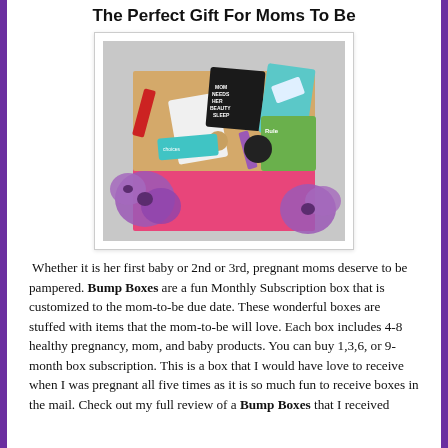The Perfect Gift For Moms To Be
[Figure (photo): A pink subscription box filled with various pregnancy and beauty products including items labeled 'Mom Needs Her Beauty Sleep', surrounded by purple flowers]
Whether it is her first baby or 2nd or 3rd, pregnant moms deserve to be pampered. Bump Boxes are a fun Monthly Subscription box that is customized to the mom-to-be due date. These wonderful boxes are stuffed with items that the mom-to-be will love. Each box includes 4-8 healthy pregnancy, mom, and baby products. You can buy 1,3,6, or 9-month box subscription. This is a box that I would have love to receive when I was pregnant all five times as it is so much fun to receive boxes in the mail. Check out my full review of a Bump Boxes that I received